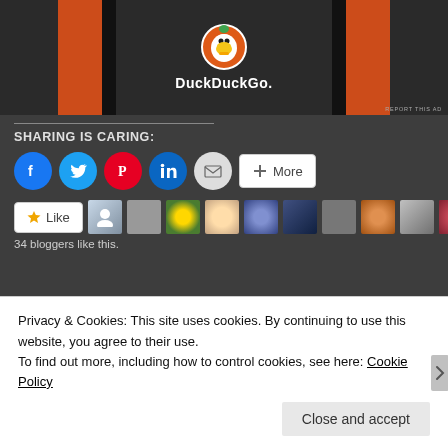[Figure (screenshot): DuckDuckGo advertisement banner with orange sidebars and duck logo on dark background]
SHARING IS CARING:
[Figure (screenshot): Row of social sharing buttons: Facebook, Twitter, Pinterest, LinkedIn, Email, More]
[Figure (screenshot): Like button and row of blogger avatar thumbnails]
34 bloggers like this.
Privacy & Cookies: This site uses cookies. By continuing to use this website, you agree to their use.
To find out more, including how to control cookies, see here: Cookie Policy
Close and accept